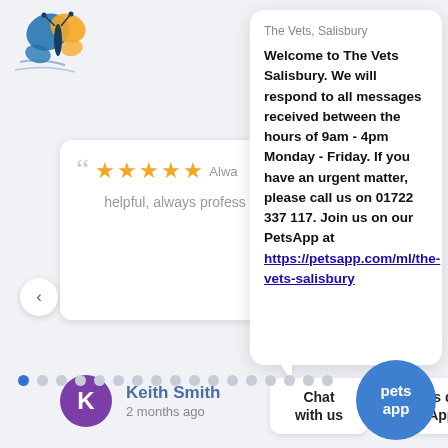[Figure (logo): Butterfly logo for The Vets Salisbury / PetsApp - orange and blue butterfly with swoosh lines]
[Figure (screenshot): Review card showing 5 orange stars and partial text 'Always helpful, always profess...' with large grey quotation mark]
The Vets, Salisbury
Welcome to The Vets Salisbury. We will respond to all messages received between the hours of 9am - 4pm Monday - Friday. If you have an urgent matter, please call us on 01722 337 117. Join us on our PetsApp at https://petsapp.com/ml/the-vets-salisbury
Keith Smith
2 months ago
Chat with us
Join us on PetsApp
[Figure (logo): PetsApp circular blue button with 'pets app' text in white]